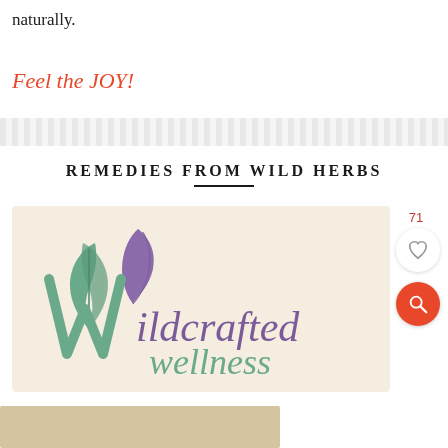naturally.
Feel the JOY!
REMEDIES FROM WILD HERBS
[Figure (logo): Wildcrafted Wellness logo on a light peach background, featuring stylized green and purple leaf/plant motifs with the text 'Wildcrafted wellness' in purple and teal.]
71